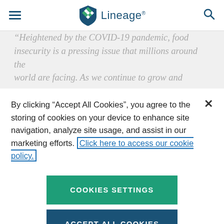Lineage
“Heightened by the COVID-19 pandemic, food insecurity is a pressing issue that millions around the world are facing. As we continue to grow and expand...
By clicking “Accept All Cookies”, you agree to the storing of cookies on your device to enhance site navigation, analyze site usage, and assist in our marketing efforts. Click here to access our cookie policy.
COOKIES SETTINGS
ACCEPT ALL COOKIES